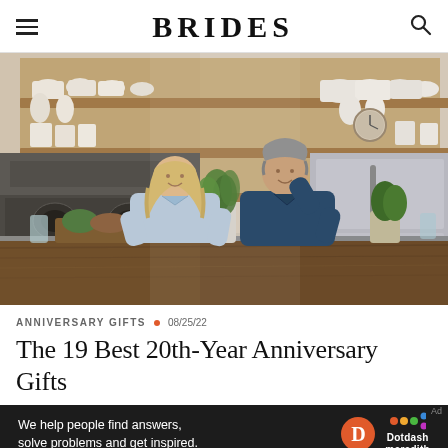BRIDES
[Figure (photo): A couple in a modern rustic kitchen. A blonde woman in a light blue shirt and a gray-haired man in a dark denim shirt are laughing and cooking together at a large wooden kitchen island. The kitchen has open wooden shelves lined with white ceramic dishes, a professional range, and a stainless steel refrigerator. There are plants and food on the counter.]
ANNIVERSARY GIFTS • 08/25/22
The 19 Best 20th-Year Anniversary Gifts
[Figure (infographic): Advertisement banner: black background with white text reading 'We help people find answers, solve problems and get inspired.' with Dotdash Meredith logo on the right.]